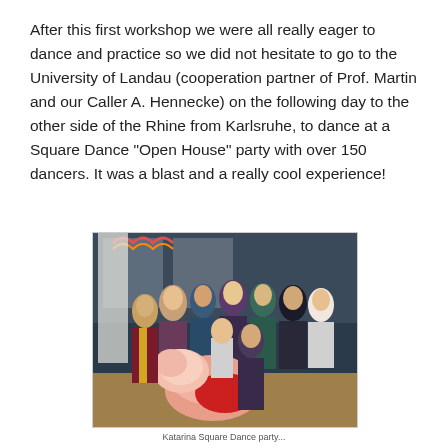After this first workshop we were all really eager to dance and practice so we did not hesitate to go to the University of Landau (cooperation partner of Prof. Martin and our Caller A. Hennecke) on the following day to the other side of the Rhine from Karlsruhe, to dance at a Square Dance "Open House" party with over 150 dancers. It was a blast and a really cool experience!
[Figure (photo): Group photo of approximately 12 people at a Square Dance Open House party. One person in the foreground is wearing a large red petticoat skirt and holding a large pink flower prop. Others are standing around smiling in casual attire in what appears to be an indoor venue.]
Katarina Square Dance party...